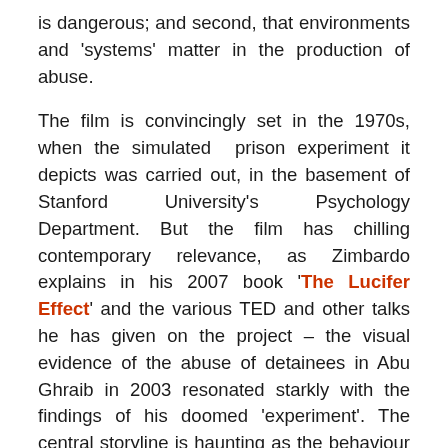is dangerous; and second, that environments and 'systems' matter in the production of abuse.
The film is convincingly set in the 1970s, when the simulated prison experiment it depicts was carried out, in the basement of Stanford University's Psychology Department. But the film has chilling contemporary relevance, as Zimbardo explains in his 2007 book 'The Lucifer Effect' and the various TED and other talks he has given on the project – the visual evidence of the abuse of detainees in Abu Ghraib in 2003 resonated starkly with the findings of his doomed 'experiment'. The central storyline is haunting as the behaviour of the guards towards their prisoners almost precisely replicates the behaviour of officers in Tier 1A at Abu Ghraib. As Zimbardo puts it, 'the line between good and evil is permeable'. The institutions we create transform people, but whether they do this in damaging or humane ways is up to us. We should